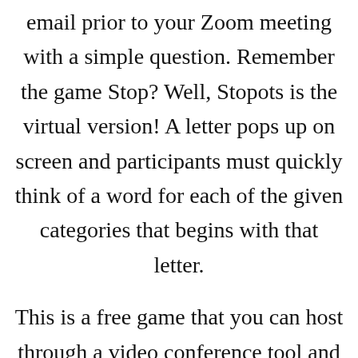email prior to your Zoom meeting with a simple question. Remember the game Stop? Well, Stopots is the virtual version! A letter pops up on screen and participants must quickly think of a word for each of the given categories that begins with that letter.
This is a free game that you can host through a video conference tool and share laughs at the bizarre words teammates come up with! Who knows? Maybe your next successful campaign will emerge from a Stopots session!